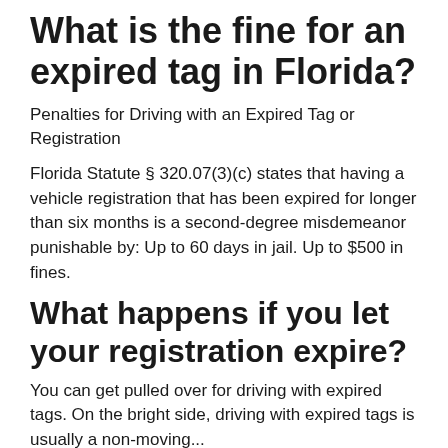What is the fine for an expired tag in Florida?
Penalties for Driving with an Expired Tag or Registration
Florida Statute § 320.07(3)(c) states that having a vehicle registration that has been expired for longer than six months is a second-degree misdemeanor punishable by: Up to 60 days in jail. Up to $500 in fines.
What happens if you let your registration expire?
You can get pulled over for driving with expired tags. On the bright side, driving with expired tags is usually a non-moving...